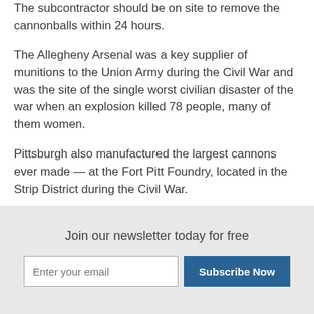The subcontractor should be on site to remove the cannonballs within 24 hours.
The Allegheny Arsenal was a key supplier of munitions to the Union Army during the Civil War and was the site of the single worst civilian disaster of the war when an explosion killed 78 people, many of them women.
Pittsburgh also manufactured the largest cannons ever made — at the Fort Pitt Foundry, located in the Strip District during the Civil War.
For more information, visit www.post-gazette.com
Join our newsletter today for free